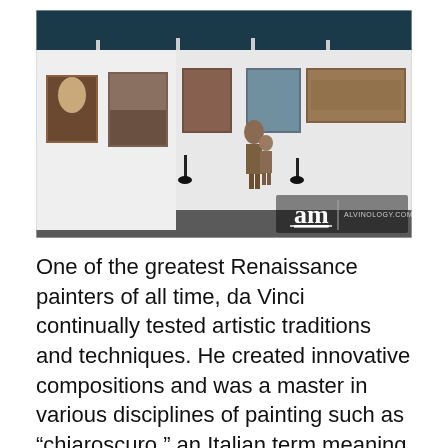[Figure (photo): Interior of an art gallery displaying large reproductions of Leonardo da Vinci paintings on white walls. Two visitors walk through the dimly lit gallery space. A watermark in the bottom right reads 'am | alvinology.com'.]
One of the greatest Renaissance painters of all time, da Vinci continually tested artistic traditions and techniques. He created innovative compositions and was a master in various disciplines of painting such as "chiaroscuro," an Italian term meaning "light/dark." This technique uses the contrasts